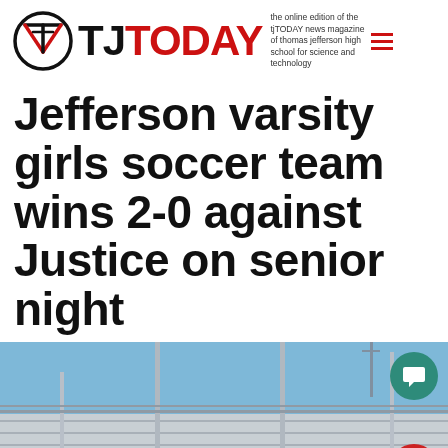tjTODAY – the online edition of the tjTODAY news magazine of thomas jefferson high school for science and technology
Jefferson varsity girls soccer team wins 2-0 against Justice on senior night
[Figure (photo): Outdoor bleachers/stadium seating with metal poles and a blue sky in the background. A few people visible in the stands.]